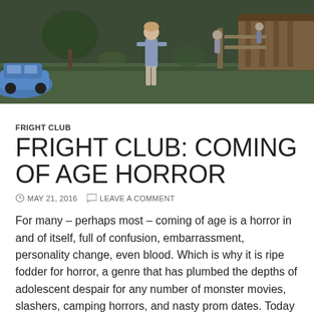[Figure (photo): Outdoor scene with a person standing in a backyard or rural area with green grass, old wooden structures, a blue car on the left, and other figures in the background. Scene appears to be from a horror movie still.]
FRIGHT CLUB
FRIGHT CLUB: COMING OF AGE HORROR
MAY 21, 2016   LEAVE A COMMENT
For many – perhaps most – coming of age is a horror in and of itself, full of confusion, embarrassment, personality change, even blood. Which is why it is ripe fodder for horror, a genre that has plumbed the depths of adolescent despair for any number of monster movies, slashers, camping horrors, and nasty prom dates. Today we celebrate the unmitigated horror of burgeoning adulthood with our list of the five best Coming of Age horror films with the help of Get It Together, our guest...